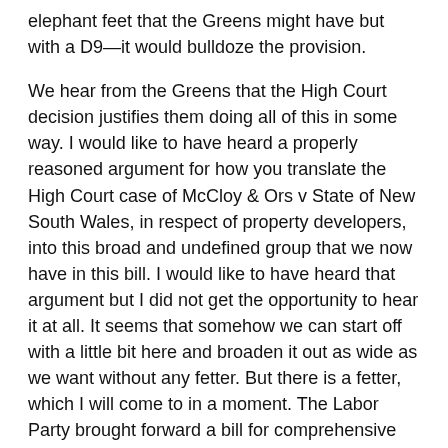elephant feet that the Greens might have but with a D9—it would bulldoze the provision.
We hear from the Greens that the High Court decision justifies them doing all of this in some way. I would like to have heard a properly reasoned argument for how you translate the High Court case of McCloy & Ors v State of New South Wales, in respect of property developers, into this broad and undefined group that we now have in this bill. I would like to have heard that argument but I did not get the opportunity to hear it at all. It seems that somehow we can start off with a little bit here and broaden it out as wide as we want without any fetter. But there is a fetter, which I will come to in a moment. The Labor Party brought forward a bill for comprehensive donations reform in 2009 which was opposed by the coalition. I am surprised the Greens want to talk about electoral reform in a week when they have voted with the government over a dozen times to prevent proper consideration and debate on the most significant